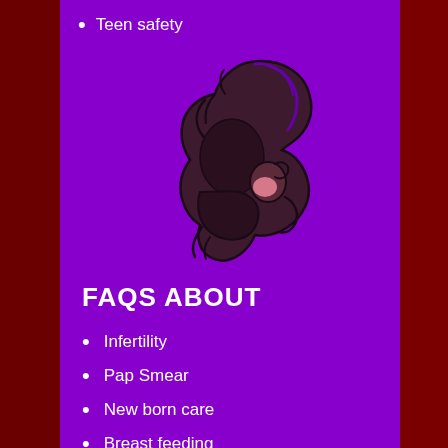Teen safety
[Figure (logo): Stylized illustration of a mother holding a baby, drawn with curved lines in dark purple/maroon tones with a small pink accent, on a purple background]
FAQS ABOUT
Infertility
Pap Smear
New born care
Breast feeding
Nebulization